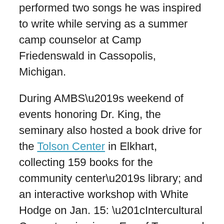performed two songs he was inspired to write while serving as a summer camp counselor at Camp Friedenswald in Cassopolis, Michigan.
During AMBS’s weekend of events honoring Dr. King, the seminary also hosted a book drive for the Tolson Center in Elkhart, collecting 159 books for the community center’s library; and an interactive workshop with White Hodge on Jan. 15: “Intercultural Competencies in an Era of Trump and Fake News.” Learn more: ambs.edu/mlkday